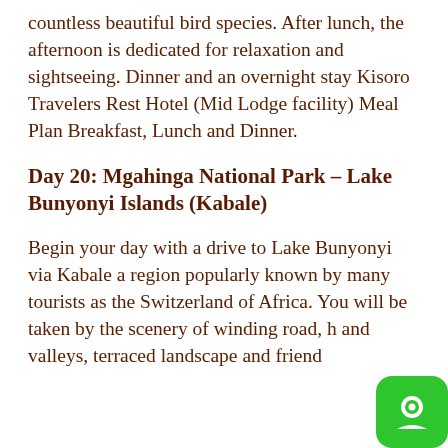countless beautiful bird species. After lunch, the afternoon is dedicated for relaxation and sightseeing. Dinner and an overnight stay Kisoro Travelers Rest Hotel (Mid Lodge facility) Meal Plan Breakfast, Lunch and Dinner.
Day 20: Mgahinga National Park – Lake Bunyonyi Islands (Kabale)
Begin your day with a drive to Lake Bunyonyi via Kabale a region popularly known by many tourists as the Switzerland of Africa. You will be taken by the scenery of winding road, h and valleys, terraced landscape and friend